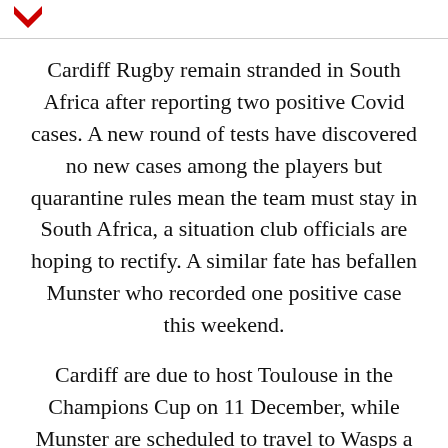[Figure (logo): Red chevron/arrow logo pointing downward]
Cardiff Rugby remain stranded in South Africa after reporting two positive Covid cases. A new round of tests have discovered no new cases among the players but quarantine rules mean the team must stay in South Africa, a situation club officials are hoping to rectify. A similar fate has befallen Munster who recorded one positive case this weekend.
Cardiff are due to host Toulouse in the Champions Cup on 11 December, while Munster are scheduled to travel to Wasps a day later. Two more URC teams, Scarlets and the Italian side Zebre, have managed to leave South Africa,